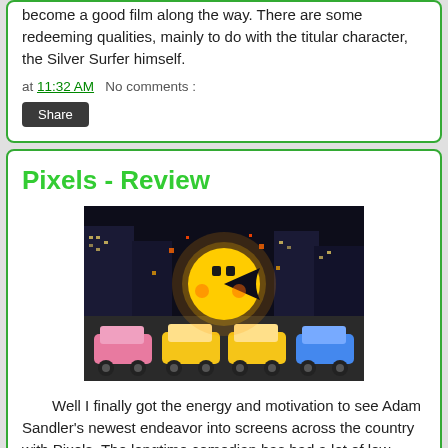become a good film along the way. There are some redeeming qualities, mainly to do with the titular character, the Silver Surfer himself.
at 11:32 AM   No comments :
Share
Pixels - Review
[Figure (photo): Movie still from Pixels showing Pac-Man character attacking cars on a city street at night]
Well I finally got the energy and motivation to see Adam Sandler's newest endeavor into screens across the country with Pixels. The longtime comedian has had a lot of low